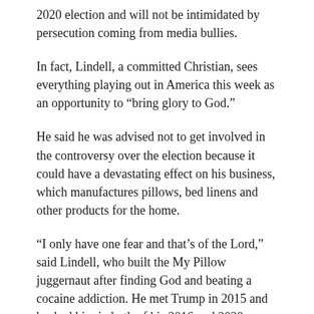2020 election and will not be intimidated by persecution coming from media bullies.
In fact, Lindell, a committed Christian, sees everything playing out in America this week as an opportunity to “bring glory to God.”
He said he was advised not to get involved in the controversy over the election because it could have a devastating effect on his business, which manufactures pillows, bed linens and other products for the home.
“I only have one fear and that’s of the Lord,” said Lindell, who built the My Pillow juggernaut after finding God and beating a cocaine addiction. He met Trump in 2015 and backed him in both of his 2016 and 2020 campaigns.